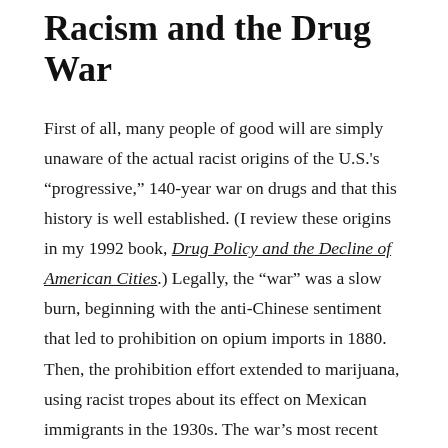Racism and the Drug War
First of all, many people of good will are simply unaware of the actual racist origins of the U.S.'s “progressive,” 140-year war on drugs and that this history is well established. (I review these origins in my 1992 book, Drug Policy and the Decline of American Cities.) Legally, the “war” was a slow burn, beginning with the anti-Chinese sentiment that led to prohibition on opium imports in 1880. Then, the prohibition effort extended to marijuana, using racist tropes about its effect on Mexican immigrants in the 1930s. The war’s most recent iteration saw a dramatic ramp up in incarceration beginning with Richard Nixon’s presidency. Ronald Reagan officially dubbed it a “war” in the early 1980s and doubled down with